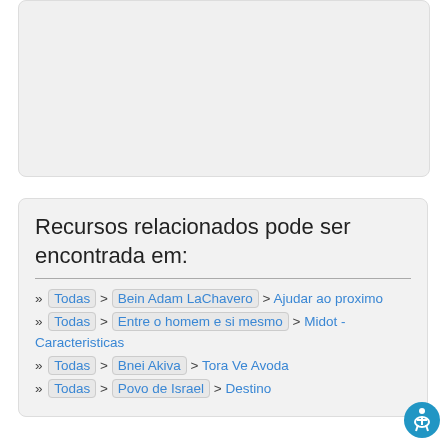[Figure (other): Light grey rectangular box at the top of the page, representing an image or media placeholder]
Recursos relacionados pode ser encontrada em:
» Todas > Bein Adam LaChavero > Ajudar ao proximo
» Todas > Entre o homem e si mesmo > Midot - Caracteristicas
» Todas > Bnei Akiva > Tora Ve Avoda
» Todas > Povo de Israel > Destino